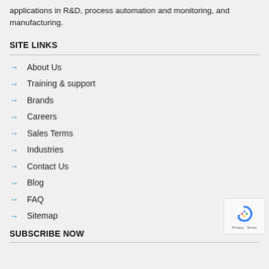applications in R&D, process automation and monitoring, and manufacturing.
SITE LINKS
About Us
Training & support
Brands
Careers
Sales Terms
Industries
Contact Us
Blog
FAQ
Sitemap
SUBSCRIBE NOW